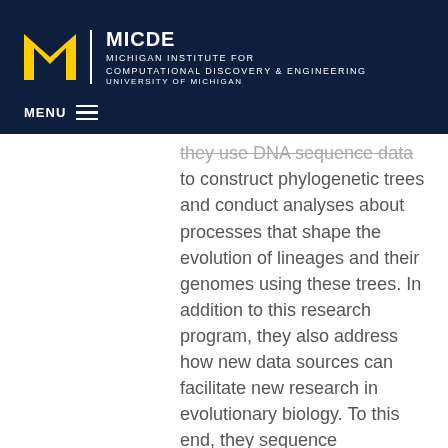[Figure (logo): MICDE Michigan Institute for Computational Discovery & Engineering, University of Michigan logo with block M]
MENU
they use DNA sequence data to construct phylogenetic trees and conduct analyses about processes that shape the evolution of lineages and their genomes using these trees. In addition to this research program, they also address how new data sources can facilitate new research in evolutionary biology. To this end, they sequence transcriptomes, primarily in plants, with the goal of better understanding where, within